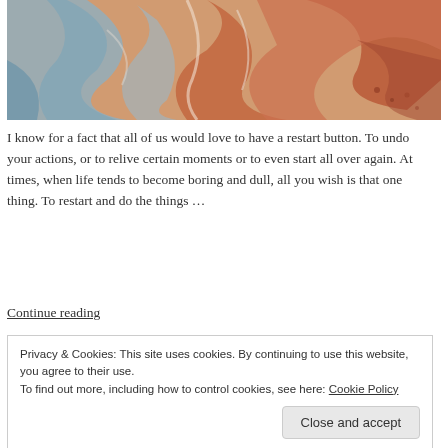[Figure (photo): Abstract marbled art with swirling patterns of orange, red, blue, and white colors]
I know for a fact that all of us would love to have a restart button. To undo your actions, or to relive certain moments or to even start all over again. At times, when life tends to become boring and dull, all you wish is that one thing. To restart and do the things …
Continue reading
Privacy & Cookies: This site uses cookies. By continuing to use this website, you agree to their use.
To find out more, including how to control cookies, see here: Cookie Policy